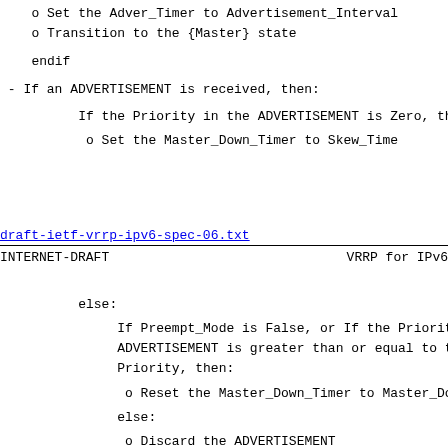o Set the Adver_Timer to Advertisement_Interval
o Transition to the {Master} state
endif
- If an ADVERTISEMENT is received, then:
If the Priority in the ADVERTISEMENT is Zero, the
o Set the Master_Down_Timer to Skew_Time
draft-ietf-vrrp-ipv6-spec-06.txt
INTERNET-DRAFT                    VRRP for IPv6
else:
If Preempt_Mode is False, or If the Priority i
ADVERTISEMENT is greater than or equal to the
Priority, then:
o Reset the Master_Down_Timer to Master_Down_
else:
o Discard the ADVERTISEMENT